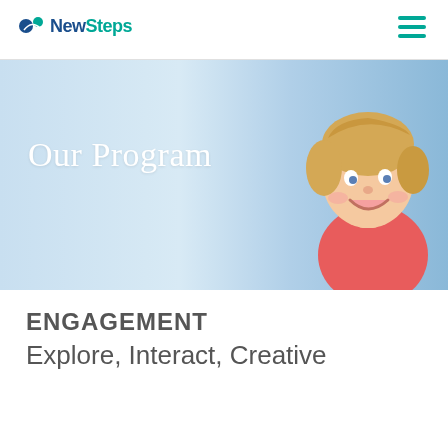NewSteps
[Figure (photo): Hero banner with light blue gradient background and a smiling young child with blond hair wearing a red/pink top, partially visible on the right side.]
Our Program
ENGAGEMENT
Explore, Interact, Creative